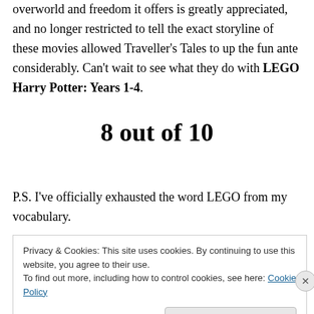overworld and freedom it offers is greatly appreciated, and no longer restricted to tell the exact storyline of these movies allowed Traveller's Tales to up the fun ante considerably. Can't wait to see what they do with LEGO Harry Potter: Years 1-4.
8 out of 10
P.S. I've officially exhausted the word LEGO from my vocabulary.
Privacy & Cookies: This site uses cookies. By continuing to use this website, you agree to their use.
To find out more, including how to control cookies, see here: Cookie Policy